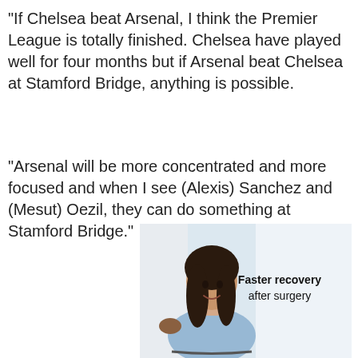"If Chelsea beat Arsenal, I think the Premier League is totally finished. Chelsea have played well for four months but if Arsenal beat Chelsea at Stamford Bridge, anything is possible.
"Arsenal will be more concentrated and more focused and when I see (Alexis) Sanchez and (Mesut) Oezil, they can do something at Stamford Bridge."
[Figure (photo): A smiling Asian woman in a light blue medical gown seated in a wheelchair, with a person in a white coat standing behind her. Text overlay reads 'Faster recovery after surgery'.]